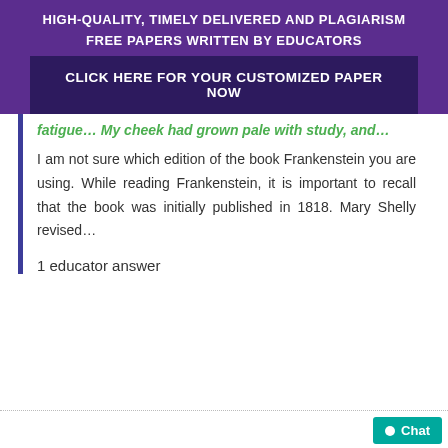HIGH-QUALITY, TIMELY DELIVERED AND PLAGIARISM FREE PAPERS WRITTEN BY EDUCATORS
CLICK HERE FOR YOUR CUSTOMIZED PAPER NOW
fatigue… My cheek had grown pale with study, and…
I am not sure which edition of the book Frankenstein you are using. While reading Frankenstein, it is important to recall that the book was initially published in 1818. Mary Shelly revised…
1 educator answer
Chat